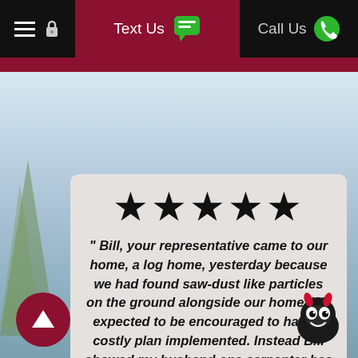≡  🔒   Text Us  📱   Call Us  📞
[Figure (screenshot): Five black star rating symbols displayed in a row inside a review card]
" Bill, your representative came to our home, a log home, yesterday because we had found saw-dust like particles on the ground alongside our home. We expected to be encouraged to have a costly plan implemented. Instead Bill showed my husband one carpenter bee hole in the facing board that was